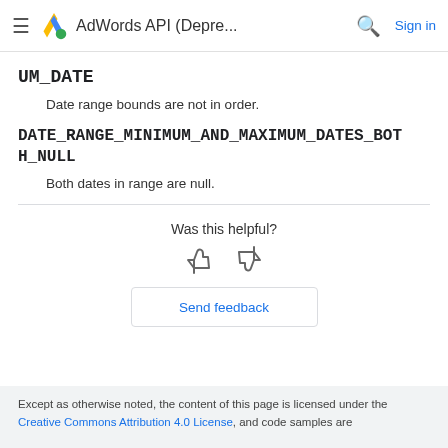AdWords API (Depre...
UM_DATE
Date range bounds are not in order.
DATE_RANGE_MINIMUM_AND_MAXIMUM_DATES_BOTH_NULL
Both dates in range are null.
Was this helpful?
Send feedback
Except as otherwise noted, the content of this page is licensed under the Creative Commons Attribution 4.0 License, and code samples are